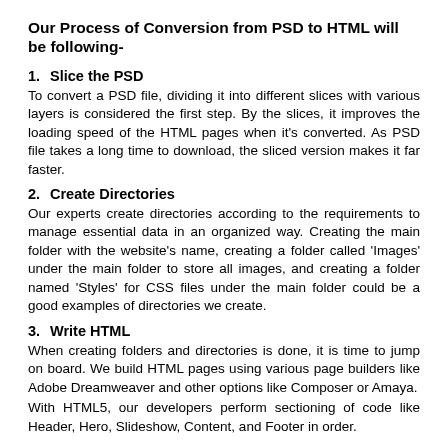Our Process of Conversion from PSD to HTML will be following-
1. Slice the PSD
To convert a PSD file, dividing it into different slices with various layers is considered the first step. By the slices, it improves the loading speed of the HTML pages when it's converted. As PSD file takes a long time to download, the sliced version makes it far faster.
2. Create Directories
Our experts create directories according to the requirements to manage essential data in an organized way. Creating the main folder with the website's name, creating a folder called 'Images' under the main folder to store all images, and creating a folder named 'Styles' for CSS files under the main folder could be a good examples of directories we create.
3. Write HTML
When creating folders and directories is done, it is time to jump on board. We build HTML pages using various page builders like Adobe Dreamweaver and other options like Composer or Amaya.
With HTML5, our developers perform sectioning of code like Header, Hero, Slideshow, Content, and Footer in order.